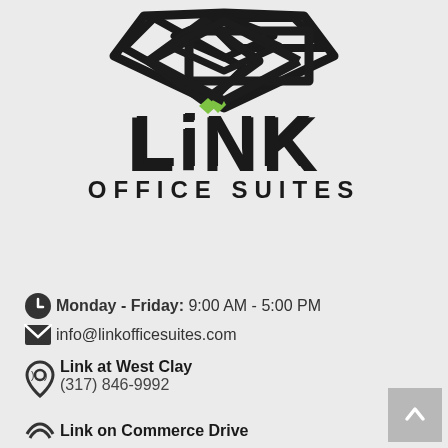[Figure (logo): Link Office Suites logo: geometric diamond/box icon above the word LINK in bold black with a green accent diamond above the I, and OFFICE SUITES in spaced capitals below]
Monday - Friday: 9:00 AM - 5:00 PM
info@linkofficesuites.com
Link at West Clay
(317) 846-9992
Link on Commerce Drive